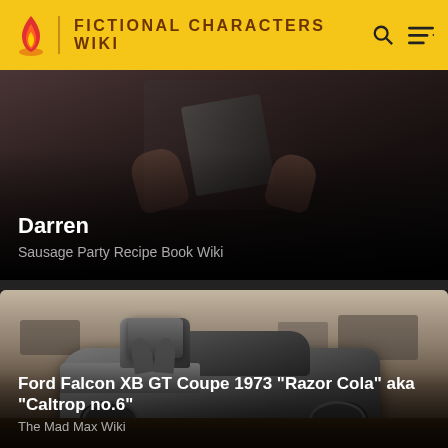FICTIONAL CHARACTERS WIKI
[Figure (screenshot): Card showing a dimly lit scene of hands holding a clipboard or dark object, with dark background gradient overlay]
Darren
Sausage Party Recipe Book Wiki
[Figure (photo): A heavily modified post-apocalyptic Ford Falcon XB GT Coupe 1973 car with a supercharged engine mounted on the hood, in a dusty desert landscape with other vehicles in the background]
Ford Falcon XB GT Coupe 1973 "Razor Cola" aka "Caltrop no.6"
The Mad Max Wiki